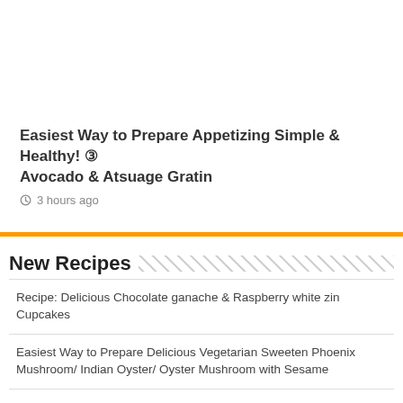Easiest Way to Prepare Appetizing Simple & Healthy! ③ Avocado & Atsuage Gratin
3 hours ago
New Recipes
Recipe: Delicious Chocolate ganache & Raspberry white zin Cupcakes
Easiest Way to Prepare Delicious Vegetarian Sweeten Phoenix Mushroom/ Indian Oyster/ Oyster Mushroom with Sesame
Recipe: Tasty fried okra
Recipe: Delicious Vegetarian stir fry feast!